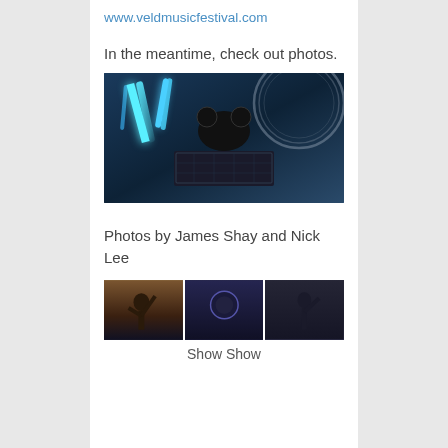www.veldmusicfestival.com
In the meantime, check out photos.
[Figure (photo): Concert photo showing a DJ with large mouse head helmet, blue laser lights on stage with futuristic equipment.]
Photos by James Shay and Nick Lee
[Figure (photo): Three side-by-side concert photos showing performers on stage.]
Show Show